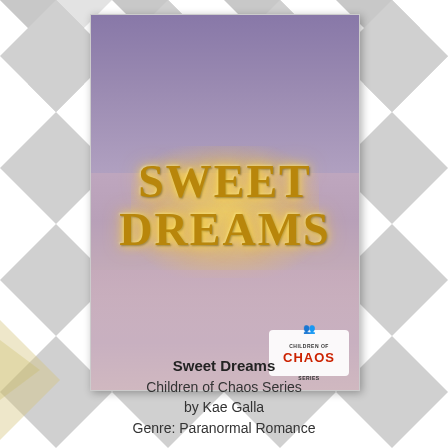[Figure (illustration): Chevron zigzag background pattern in grey and gold tones covering the full page, with a book cover centered on top. The book cover shows a young person's face looking serious at top, golden glowing title text 'SWEET DREAMS' in the middle, a sleeping figure at bottom, and a Children of Chaos Series badge in the lower right corner.]
Sweet Dreams
Children of Chaos Series
by Kae Galla
Genre: Paranormal Romance